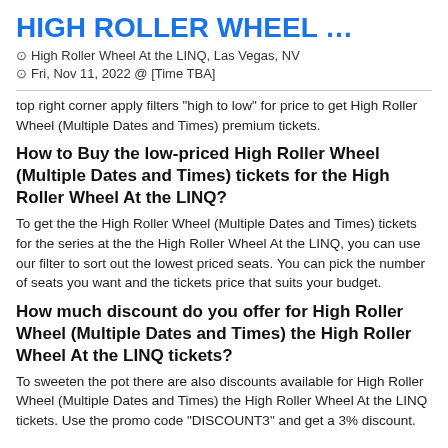HIGH ROLLER WHEEL …
High Roller Wheel At the LINQ, Las Vegas, NV
Fri, Nov 11, 2022 @ [Time TBA]
top right corner apply filters "high to low" for price to get High Roller Wheel (Multiple Dates and Times) premium tickets.
How to Buy the low-priced High Roller Wheel (Multiple Dates and Times) tickets for the High Roller Wheel At the LINQ?
To get the the High Roller Wheel (Multiple Dates and Times) tickets for the series at the the High Roller Wheel At the LINQ, you can use our filter to sort out the lowest priced seats. You can pick the number of seats you want and the tickets price that suits your budget.
How much discount do you offer for High Roller Wheel (Multiple Dates and Times) the High Roller Wheel At the LINQ tickets?
To sweeten the pot there are also discounts available for High Roller Wheel (Multiple Dates and Times) the High Roller Wheel At the LINQ tickets. Use the promo code "DISCOUNT3" and get a 3% discount.